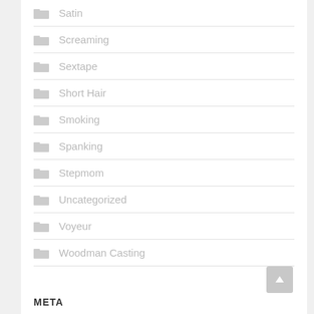Satin
Screaming
Sextape
Short Hair
Smoking
Spanking
Stepmom
Uncategorized
Voyeur
Woodman Casting
META